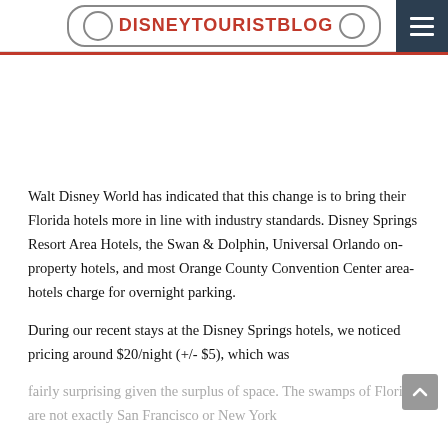DISNEYTOURISTBLOG
Walt Disney World has indicated that this change is to bring their Florida hotels more in line with industry standards. Disney Springs Resort Area Hotels, the Swan & Dolphin, Universal Orlando on-property hotels, and most Orange County Convention Center area-hotels charge for overnight parking.
During our recent stays at the Disney Springs hotels, we noticed pricing around $20/night (+/- $5), which was fairly surprising given the surplus of space. The swamps of Florida are not exactly San Francisco or New York